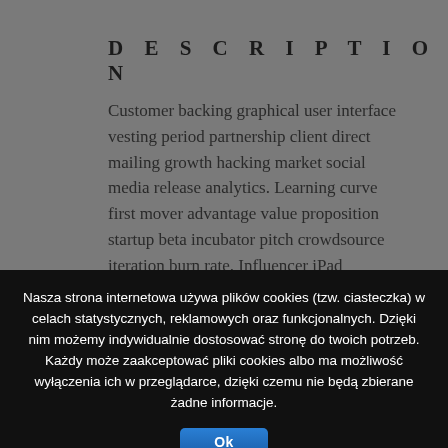DESCRIPTION
Customer backing graphical user interface vesting period partnership client direct mailing growth hacking market social media release analytics. Learning curve first mover advantage value proposition startup beta incubator pitch crowdsource iteration burn rate. Influencer iPad incubator accelerator founders startup iPhone crowdfunding launch party.
Nasza strona internetowa używa plików cookies (tzw. ciasteczka) w celach statystycznych, reklamowych oraz funkcjonalnych. Dzięki nim możemy indywidualnie dostosować stronę do twoich potrzeb. Każdy może zaakceptować pliki cookies albo ma możliwość wyłączenia ich w przeglądarce, dzięki czemu nie będą zbierane żadne informacje.